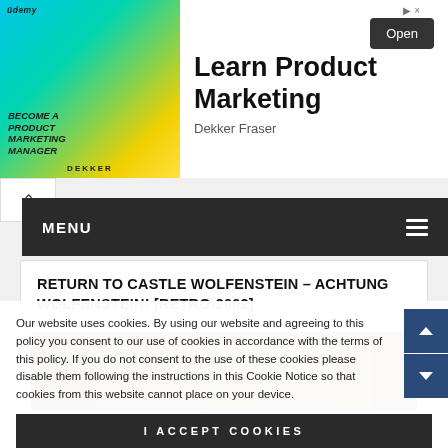[Figure (screenshot): Udemy advertisement banner: colorful graphic on the left with 'BECOME A PRODUCT MARKETING MANAGER' and 'DEKKER' text over a teal/yellow gradient with a person in a suit. Right side shows large text 'Learn Product Marketing', 'Dekker Fraser' subtext, and an 'Open' button. Close (X) icon top right.]
MENU
RETURN TO CASTLE WOLFENSTEIN – ACHTUNG WOLFENSTEIN! [RETRO-2002]
[Figure (photo): Partial screenshot of a dark, warm-toned game image from Return to Castle Wolfenstein, showing character faces in brown/amber tones.]
Our website uses cookies. By using our website and agreeing to this policy you consent to our use of cookies in accordance with the terms of this policy. If you do not consent to the use of these cookies please disable them following the instructions in this Cookie Notice so that cookies from this website cannot place on your device.
I ACCEPT COOKIES